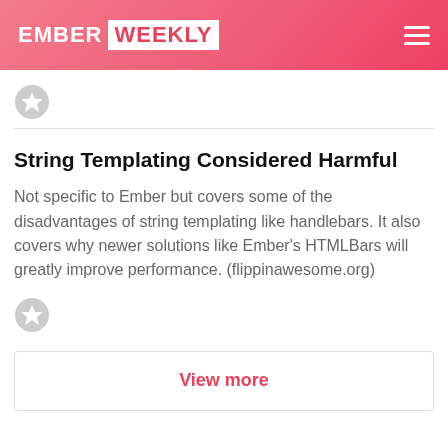EMBER WEEKLY
String Templating Considered Harmful
Not specific to Ember but covers some of the disadvantages of string templating like handlebars. It also covers why newer solutions like Ember's HTMLBars will greatly improve performance. (flippinawesome.org)
View more